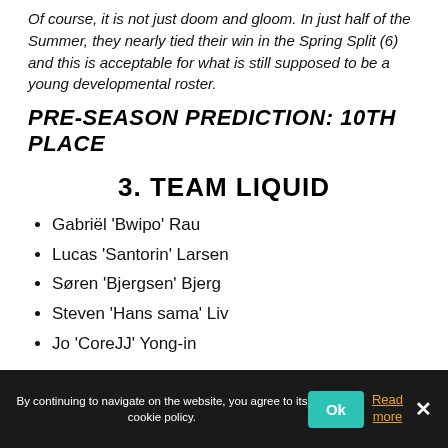Of course, it is not just doom and gloom. In just half of the Summer, they nearly tied their win in the Spring Split (6) and this is acceptable for what is still supposed to be a young developmental roster.
PRE-SEASON PREDICTION: 10TH PLACE
3. TEAM LIQUID
Gabriël 'Bwipo' Rau
Lucas 'Santorin' Larsen
Søren 'Bjergsen' Bjerg
Steven 'Hans sama' Liv
Jo 'CoreJJ' Yong-in
By continuing to navigate on the website, you agree to its cookie policy. Ok Read more ×